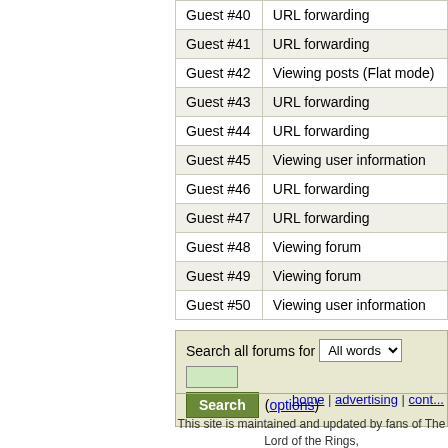| User | Action |
| --- | --- |
| Guest #40 | URL forwarding |
| Guest #41 | URL forwarding |
| Guest #42 | Viewing posts (Flat mode) |
| Guest #43 | URL forwarding |
| Guest #44 | URL forwarding |
| Guest #45 | Viewing user information |
| Guest #46 | URL forwarding |
| Guest #47 | URL forwarding |
| Guest #48 | Viewing forum |
| Guest #49 | Viewing forum |
| Guest #50 | Viewing user information |
Search all forums for  All words   (options)
home | advertising | cont...
This site is maintained and updated by fans of The Lord of the Rings, displayed to be our own. Copyrights and trademarks for the books, film the fair use clause of the Copyright Law. Design and original pho...